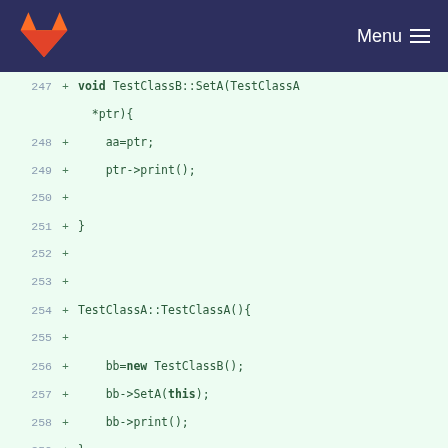GitLab navigation bar with logo and Menu
[Figure (screenshot): GitLab code diff viewer showing C++ source code lines 247-265, with added lines (green +) showing TestClassB::SetA, TestClassA constructor, and TestClassA destructor implementations.]